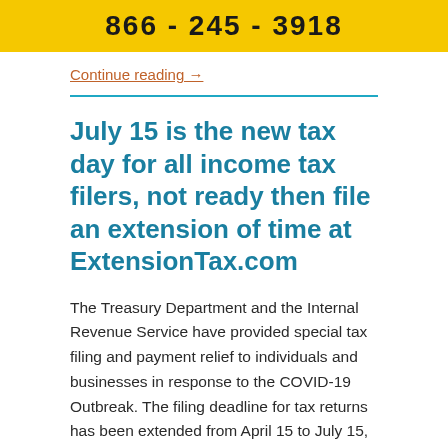866 - 245 - 3918
Continue reading →
July 15 is the new tax day for all income tax filers, not ready then file an extension of time at ExtensionTax.com
The Treasury Department and the Internal Revenue Service have provided special tax filing and payment relief to individuals and businesses in response to the COVID-19 Outbreak. The filing deadline for tax returns has been extended from April 15 to July 15, 2020. The IRS urges taxpayers who are owed a refund to file as quickly as possible. For those who can't file by the July 15, 2020 deadline, the IRS reminds individual taxpayers that